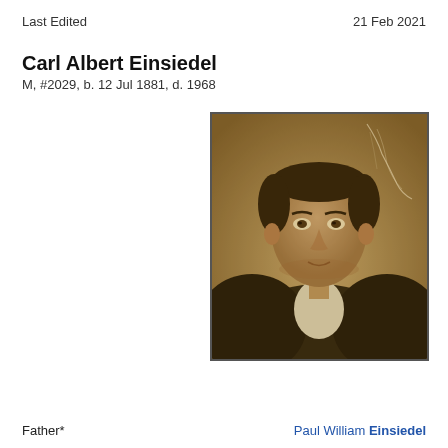Last Edited    21 Feb 2021
Carl Albert Einsiedel
M, #2029, b. 12 Jul 1881, d. 1968
[Figure (photo): Sepia-toned portrait photograph of a young man in a dark suit with a white collar, looking directly at the camera. The photo shows some cracking or damage in the upper right area.]
Father*    Paul William Einsiedel